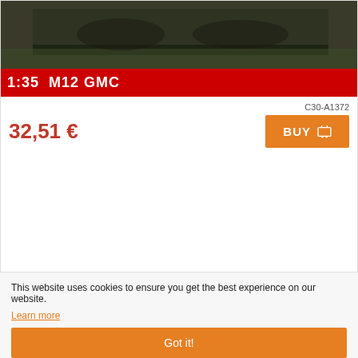[Figure (photo): Product image of 1:35 M12 GMC scale model kit box art showing a tank/artillery vehicle on dark grassy terrain with red banner reading '1:35 M12 GMC']
C30-A1372
32,51 €
BUY
Husky Mk III Vehicle Mounted Mine Detector (VMMD) 1/35 – AFV Club
[Figure (photo): Box art illustration of Husky Mk III Vehicle Mounted Mine Detector (VMMD) scale model, showing the vehicle from the side with AFV Club logo and model number AF35347]
This website uses cookies to ensure you get the best experience on our website.
Learn more
Got it!